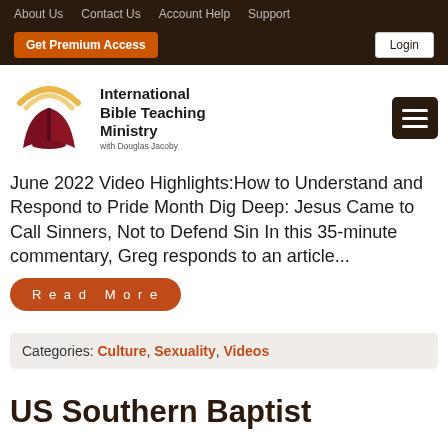About Us  Contact Us  Account Help  Support  |  Get Premium Access  Login
[Figure (logo): International Bible Teaching Ministry logo with open book and halo, with Douglas Jacoby text]
June 2022 Video Highlights:How to Understand and Respond to Pride Month Dig Deep: Jesus Came to Call Sinners, Not to Defend Sin In this 35-minute commentary, Greg responds to an article...
Read More
Categories: Culture, Sexuality, Videos
US Southern Baptist